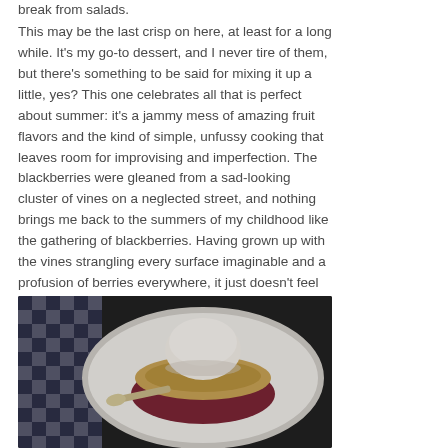break from salads.
This may be the last crisp on here, at least for a long while. It's my go-to dessert, and I never tire of them, but there's something to be said for mixing it up a little, yes? This one celebrates all that is perfect about summer: it's a jammy mess of amazing fruit flavors and the kind of simple, unfussy cooking that leaves room for improvising and imperfection. The blackberries were gleaned from a sad-looking cluster of vines on a neglected street, and nothing brings me back to the summers of my childhood like the gathering of blackberries. Having grown up with the vines strangling every surface imaginable and a profusion of berries everywhere, it just doesn't feel right purchasing them at a market. They're never as good.
[Figure (photo): Overhead photo of a white bowl containing berry crisp topped with crumble and a scoop of vanilla ice cream, with a spoon, on a dark blue and white checkered cloth background.]